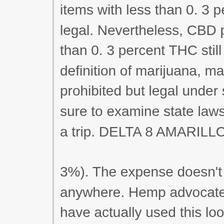items with less than 0. 3 percent THC federally legal. Nevertheless, CBD products including more than 0. 3 percent THC still fall under the legal definition of marijuana, making them federally prohibited but legal under some state laws. Make sure to examine state laws, especially when taking a trip. DELTA 8 AMARILLO TX.
3%). The expense doesn't mention Delta-8 anywhere. Hemp advocates and others who offer it have actually used this loophole to lawfully market Delta-8 items, typically with no age restrictions. As an outcome, it's now the fastest growing item from the